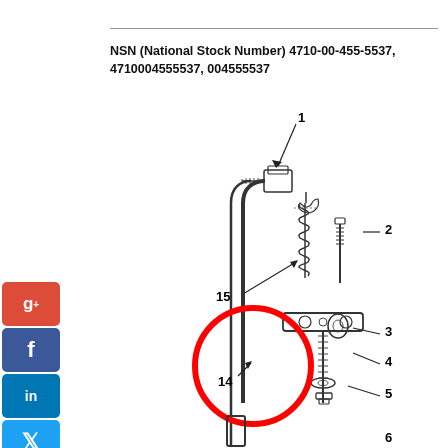NSN (National Stock Number) 4710-00-455-5537, 4710004555537, 004555537
[Figure (engineering-diagram): Exploded engineering diagram of a mechanical assembly showing numbered parts (1-6, 14, 15). Part 14 is highlighted with a red circle. Parts include tube fittings, bolts, brackets, washers, and a spring assembly. Social media share buttons (Google+, Facebook, LinkedIn, Twitter, share, StumbleUpon) are shown on the left side.]